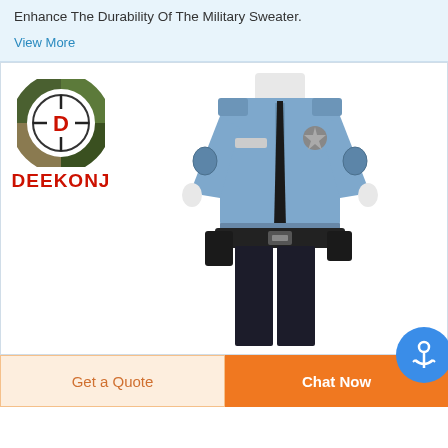Enhance The Durability Of The Military Sweater.
View More
[Figure (photo): DEEKONJ brand logo (camouflage circle with D) and a police/security uniform on a mannequin: light blue long-sleeve shirt with patches and tie, dark trousers with utility belt.]
Get a Quote
Chat Now